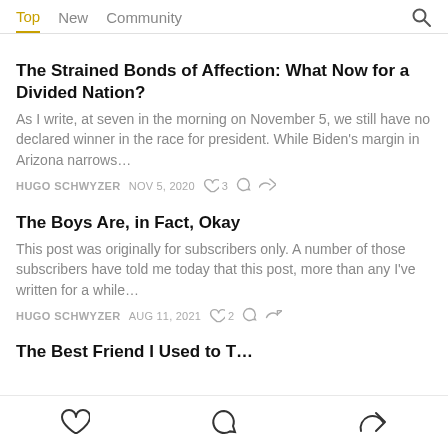Top  New  Community
The Strained Bonds of Affection: What Now for a Divided Nation?
As I write, at seven in the morning on November 5, we still have no declared winner in the race for president. While Biden's margin in Arizona narrows…
HUGO SCHWYZER  NOV 5, 2020  ♡ 3
The Boys Are, in Fact, Okay
This post was originally for subscribers only. A number of those subscribers have told me today that this post, more than any I've written for a while…
HUGO SCHWYZER  AUG 11, 2021  ♡ 2
The Best Friend I Used to T…